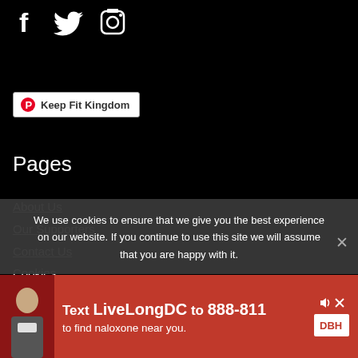[Figure (illustration): Social media icons: Facebook (f), Twitter (bird), Instagram (camera) displayed in white on black background]
[Figure (illustration): Pinterest button with red Pinterest logo and text 'Keep Fit Kingdom' on white button with grey border]
Pages
About Us
Our Supporters
Contact Us
Cookies
Privacy
Terms of Use
We use cookies to ensure that we give you the best experience on our website. If you continue to use this site we will assume that you are happy with it.
[Figure (illustration): Advertisement banner: red background with text 'Text LiveLongDC to 888-811 to find naloxone near you.' with DBH logo and ad icons]